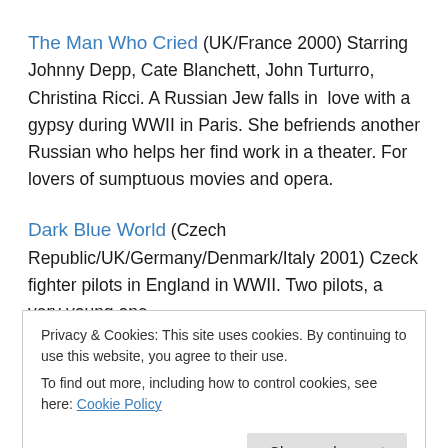The Man Who Cried (UK/France 2000) Starring Johnny Depp, Cate Blanchett, John Turturro, Christina Ricci. A Russian Jew falls in love with a gypsy during WWII in Paris. She befriends another Russian who helps her find work in a theater. For lovers of sumptuous movies and opera.
Dark Blue World (Czech Republic/UK/Germany/Denmark/Italy 2001) Czeck fighter pilots in England in WWII. Two pilots, a very young one
Privacy & Cookies: This site uses cookies. By continuing to use this website, you agree to their use. To find out more, including how to control cookies, see here: Cookie Policy
Nicolas Cage. An Italian commander falls in love with a